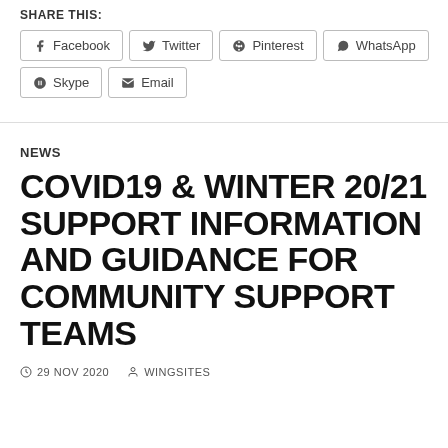SHARE THIS:
Facebook | Twitter | Pinterest | WhatsApp | Skype | Email
NEWS
COVID19 & WINTER 20/21 SUPPORT INFORMATION AND GUIDANCE FOR COMMUNITY SUPPORT TEAMS
29 NOV 2020   WINGSITES